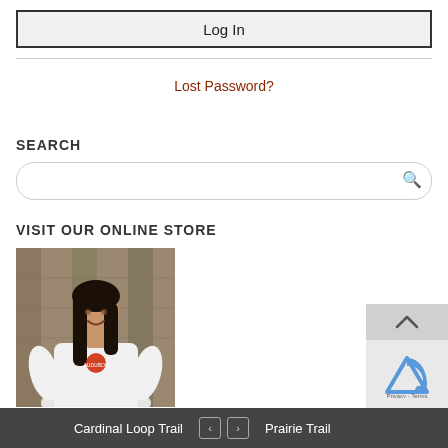Log In
Lost Password?
SEARCH
VISIT OUR ONLINE STORE
[Figure (photo): Woman wearing a white Indiana Audubon t-shirt standing in front of a wooden fence, smiling, with long dark hair]
Cardinal Loop Trail  <  >  Prairie Trail